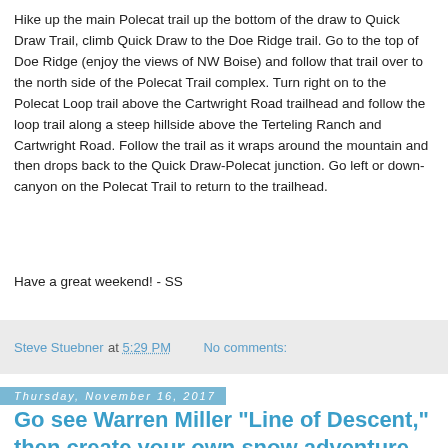Hike up the main Polecat trail up the bottom of the draw to Quick Draw Trail, climb Quick Draw to the Doe Ridge trail. Go to the top of Doe Ridge (enjoy the views of NW Boise) and follow that trail over to the north side of the Polecat Trail complex. Turn right on to the Polecat Loop trail above the Cartwright Road trailhead and follow the loop trail along a steep hillside above the Terteling Ranch and Cartwright Road. Follow the trail as it wraps around the mountain and then drops back to the Quick Draw-Polecat junction. Go left or down-canyon on the Polecat Trail to return to the trailhead.
Have a great weekend! - SS
Steve Stuebner at 5:29 PM   No comments:
Thursday, November 16, 2017
Go see Warren Miller "Line of Descent," then create your own snow adventure